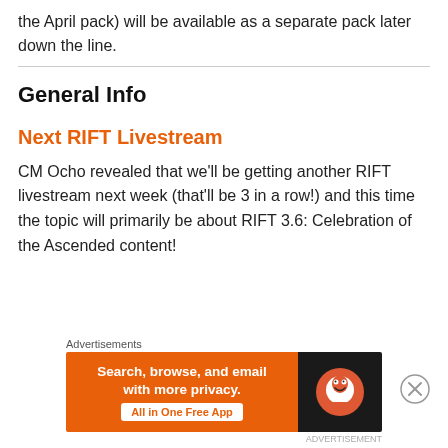the April pack) will be available as a separate pack later down the line.
General Info
Next RIFT Livestream
CM Ocho revealed that we’ll be getting another RIFT livestream next week (that’ll be 3 in a row!) and this time the topic will primarily be about RIFT 3.6: Celebration of the Ascended content!
[Figure (other): DuckDuckGo advertisement banner: Search, browse, and email with more privacy. All in One Free App. DuckDuckGo logo on dark background.]